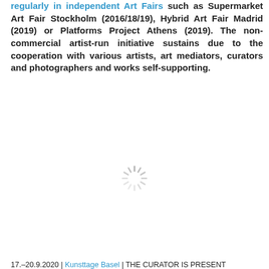regularly in independent Art Fairs such as Supermarket Art Fair Stockholm (2016/18/19), Hybrid Art Fair Madrid (2019) or Platforms Project Athens (2019). The non-commercial artist-run initiative sustains due to the cooperation with various artists, art mediators, curators and photographers and works self-supporting.
[Figure (other): Loading spinner icon (sunburst/radial lines) centered on the page]
17.–20.9.2020 | Kunsttage Basel | THE CURATOR IS PRESENT